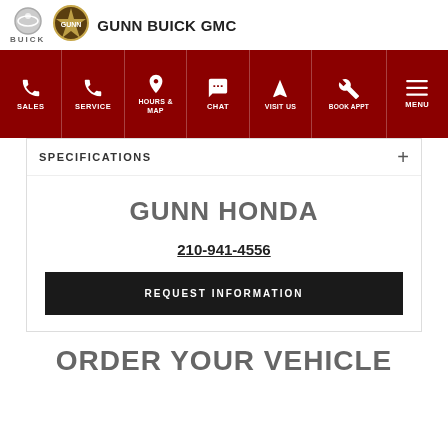GUNN BUICK GMC
[Figure (logo): Buick logo with circle emblem and BUICK text below, plus Gunn Buick GMC badge logo]
[Figure (infographic): Dark red navigation bar with icons and labels: SALES, SERVICE, HOURS & MAP, CHAT, VISIT US, BOOK APPT, MENU]
SPECIFICATIONS
GUNN HONDA
210-941-4556
REQUEST INFORMATION
ORDER YOUR VEHICLE